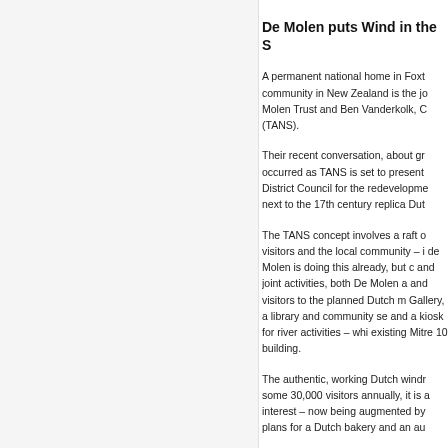De Molen puts Wind in the S
A permanent national home in Foxt community in New Zealand is the jo Molen Trust and Ben Vanderkolk, C (TANS).
Their recent conversation, about gr occurred as TANS is set to present District Council for the redevelopme next to the 17th century replica Dut
The TANS concept involves a raft o visitors and the local community – i de Molen is doing this already, but c and joint activities, both De Molen a and visitors to the planned Dutch m Gallery, a library and community se and a kiosk for river activities – whi existing Mitre 10 building.
The authentic, working Dutch windr some 30,000 visitors annually, it is a interest – now being augmented by plans for a Dutch bakery and an au